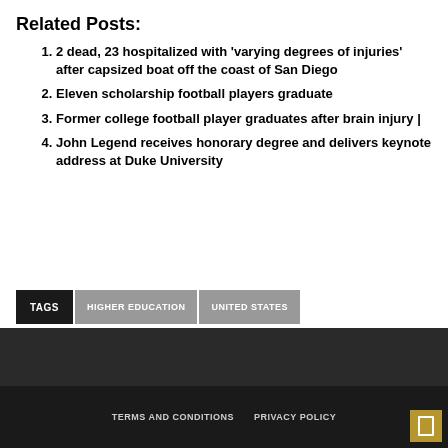Related Posts:
2 dead, 23 hospitalized with ‘varying degrees of injuries’ after capsized boat off the coast of San Diego
Eleven scholarship football players graduate
Former college football player graduates after brain injury |
John Legend receives honorary degree and delivers keynote address at Duke University
TAGS  HIGHER EDUCATION  UNITED STATES
TERMS AND CONDITIONS  PRIVACY POLICY